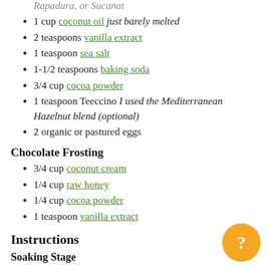Rapadura, or Sucanat
1 cup coconut oil just barely melted
2 teaspoons vanilla extract
1 teaspoon sea salt
1-1/2 teaspoons baking soda
3/4 cup cocoa powder
1 teaspoon Teeccino I used the Mediterranean Hazelnut blend (optional)
2 organic or pastured eggs
Chocolate Frosting
3/4 cup coconut cream
1/4 cup raw honey
1/4 cup cocoa powder
1 teaspoon vanilla extract
Instructions
Soaking Stage
Combine the fed starter, milk, and spelt flour in a mixing bowl.